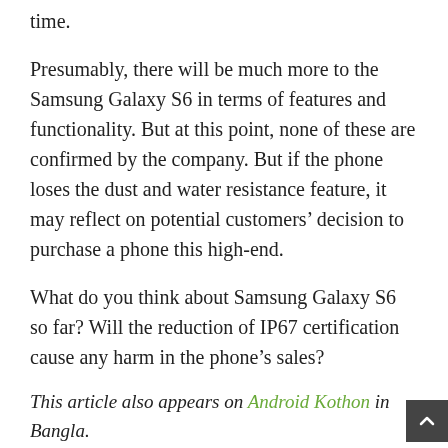time.
Presumably, there will be much more to the Samsung Galaxy S6 in terms of features and functionality. But at this point, none of these are confirmed by the company. But if the phone loses the dust and water resistance feature, it may reflect on potential customers’ decision to purchase a phone this high-end.
What do you think about Samsung Galaxy S6 so far? Will the reduction of IP67 certification cause any harm in the phone’s sales?
This article also appears on Android Kothon in Bangla.
Let the world know:
[Figure (other): Social share buttons: Facebook, Twitter, LinkedIn, Pocket]
You may have missed